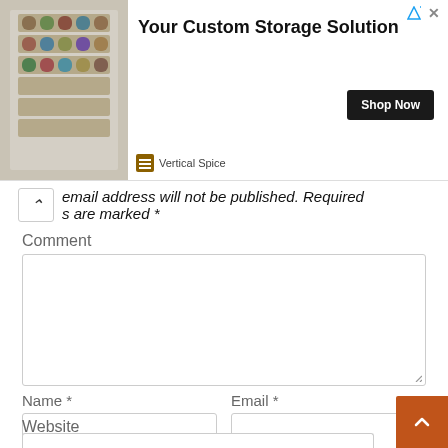[Figure (screenshot): Advertisement banner for Vertical Spice featuring a spice rack image, 'Your Custom Storage Solution' text, 'Shop Now' button, and Vertical Spice branding.]
…email address will not be published. Required fields are marked *
Comment
Name *
Email *
Website